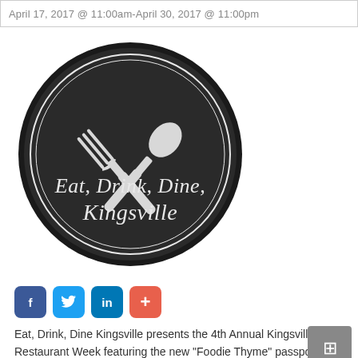April 17, 2017 @ 11:00am-April 30, 2017 @ 11:00pm
[Figure (logo): Circular scalloped badge logo for 'Eat, Drink, Dine, Kingsville' featuring a crossed fork and spoon on a dark textured background]
Eat, Drink, Dine Kingsville presents the 4th Annual Kingsville Restaurant Week featuring the new "Foodie Thyme" passport & prizes on April 17-30, 2017.